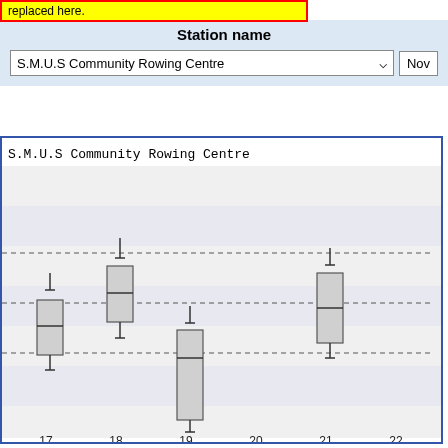replaced here.
Station name
S.M.U.S Community Rowing Centre
[Figure (other): Box plot chart titled 'S.M.U.S Community Rowing Centre' showing box-and-whisker plots at x-axis positions 17, 18, 19, 20, 21, 22. Position 17 has a box from ~-0.5 to ~0.1 with whiskers; position 18 has a taller box higher up; position 19 has a long downward box; position 21 has a box in the mid-upper range. Two dashed horizontal reference lines are visible.]
17   18   19   20   21   22